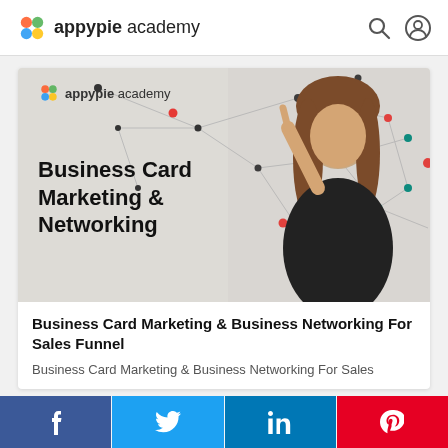appypie academy
[Figure (screenshot): Course thumbnail image showing 'Business Card Marketing & Networking' text overlay with a woman pointing upward, on a network node background. Appypie academy logo in top-left of image.]
Business Card Marketing & Business Networking For Sales Funnel
Business Card Marketing & Business Networking For Sales
f  (Twitter bird icon)  in  (Pinterest icon)